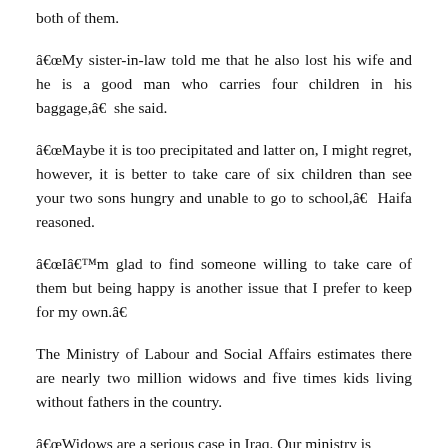both of them.
â€œMy sister-in-law told me that he also lost his wife and he is a good man who carries four children in his baggage,â€  she said.
â€œMaybe it is too precipitated and latter on, I might regret, however, it is better to take care of six children than see your two sons hungry and unable to go to school,â€  Haifa reasoned.
â€œIâ€™m glad to find someone willing to take care of them but being happy is another issue that I prefer to keep for my own.â€
The Ministry of Labour and Social Affairs estimates there are nearly two million widows and five times kids living without fathers in the country.
â€œWidows are a serious case in Iraq. Our ministry is